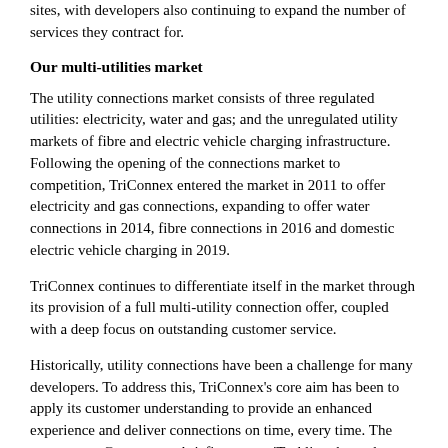sites, with developers also continuing to expand the number of services they contract for.
Our multi-utilities market
The utility connections market consists of three regulated utilities: electricity, water and gas; and the unregulated utility markets of fibre and electric vehicle charging infrastructure. Following the opening of the connections market to competition, TriConnex entered the market in 2011 to offer electricity and gas connections, expanding to offer water connections in 2014, fibre connections in 2016 and domestic electric vehicle charging in 2019.
TriConnex continues to differentiate itself in the market through its provision of a full multi-utility connection offer, coupled with a deep focus on outstanding customer service.
Historically, utility connections have been a challenge for many developers. To address this, TriConnex's core aim has been to apply its customer understanding to provide an enhanced experience and deliver connections on time, every time. The most recent Government briefing paper, 'Tackling the under-supply of housing in England', from January 2021 identifies that estimates